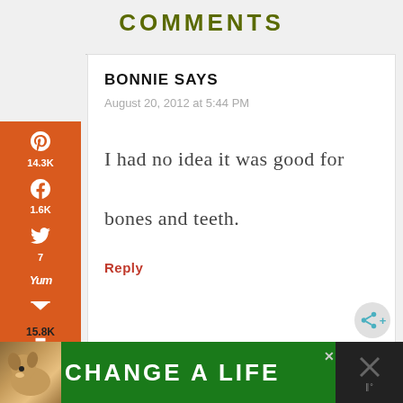COMMENTS
[Figure (screenshot): Social share sidebar with Pinterest (14.3K), Facebook (1.6K), Twitter (7), Yummly, Email, and Print icons on an orange background]
BONNIE SAYS
August 20, 2012 at 5:44 PM
I had no idea it was good for bones and teeth.
Reply
15.8K SHARES
[Figure (infographic): Advertisement banner showing a dog with 'CHANGE A LIFE' text on green background]